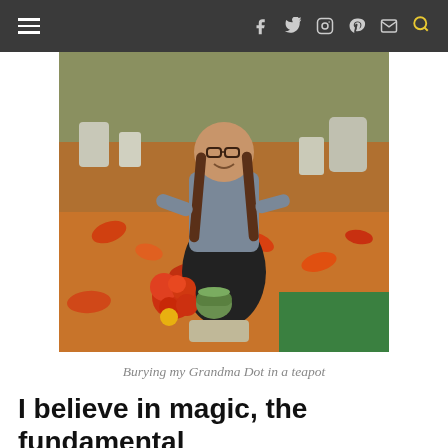Navigation bar with hamburger menu and icons: f (Facebook), Twitter, Instagram, Pinterest, email, search
[Figure (photo): A woman with braided hair and glasses, wearing a grey top and black skirt, crouching at a grave in a cemetery covered in autumn orange and red leaves, with red flowers and a small green teapot placed on the grave marker.]
Burying my Grandma Dot in a teapot
I believe in magic, the fundamental interconnectedness of